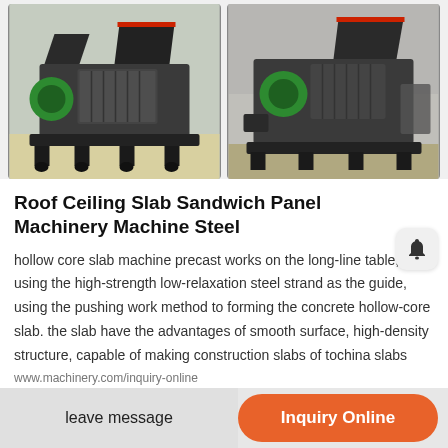[Figure (photo): Two industrial machines (briquette/crusher machines) side by side in factory setting. Left machine is dark grey with green motor component and hopper on top. Right machine is similar in dark grey with green elements.]
Roof Ceiling Slab Sandwich Panel Machinery Machine Steel
hollow core slab machine precast works on the long-line table, using the high-strength low-relaxation steel strand as the guide, using the pushing work method to forming the concrete hollow-core slab. the slab have the advantages of smooth surface, high-density structure, capable of making construction slabs of tochina slabs cutting machine manufacturers select 2021 high quality slabs cutting
leave message    Inquiry Online